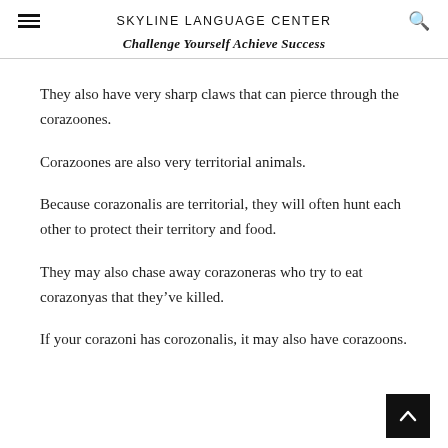SKYLINE LANGUAGE CENTER
Challenge Yourself Achieve Success
They also have very sharp claws that can pierce through the corazoones.
Corazoones are also very territorial animals.
Because corazonalis are territorial, they will often hunt each other to protect their territory and food.
They may also chase away corazoneras who try to eat corazonyas that they’ve killed.
If your corazoni has corozonalis, it may also have corazoons.